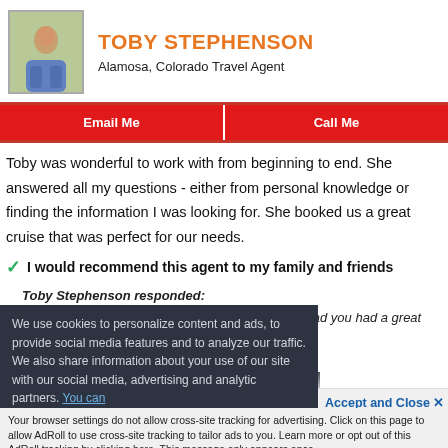TOBY STEPHENSON
Alamosa, Colorado Travel Agent
Email Me
Call Me
Toby was wonderful to work with from beginning to end. She answered all my questions - either from personal knowledge or finding the information I was looking for. She booked us a great cruise that was perfect for our needs.
I would recommend this agent to my family and friends
Toby Stephenson responded:
Thank you Lori! I loved working with you and I'm glad you had a great graduation vacation.
We use cookies to personalize content and ads, to provide social media features and to analyze our traffic. We also share information about your use of our site with our social media, advertising and analytic partners. You can
Accept and Close ✕
Your browser settings do not allow cross-site tracking for advertising. Click on this page to allow AdRoll to use cross-site tracking to tailor ads to you. Learn more or opt out of this AdRoll tracking by clicking here. This message only appears once.